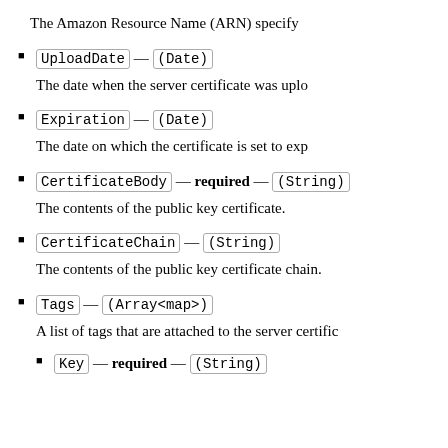The Amazon Resource Name (ARN) specify
UploadDate — (Date)
The date when the server certificate was uplo
Expiration — (Date)
The date on which the certificate is set to exp
CertificateBody — required — (String)
The contents of the public key certificate.
CertificateChain — (String)
The contents of the public key certificate chain.
Tags — (Array<map>)
A list of tags that are attached to the server certific
Key — required — (String)